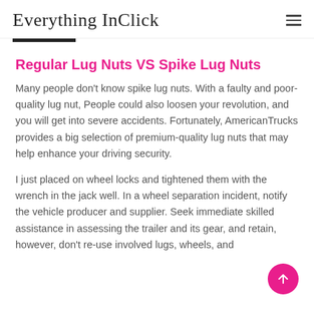Everything InClick
Regular Lug Nuts VS Spike Lug Nuts
Many people don't know spike lug nuts. With a faulty and poor-quality lug nut, People could also loosen your revolution, and you will get into severe accidents. Fortunately, AmericanTrucks provides a big selection of premium-quality lug nuts that may help enhance your driving security.
I just placed on wheel locks and tightened them with the wrench in the jack well. In a wheel separation incident, notify the vehicle producer and supplier. Seek immediate skilled assistance in assessing the trailer and its gear, and retain, however, don't re-use involved lugs, wheels, and